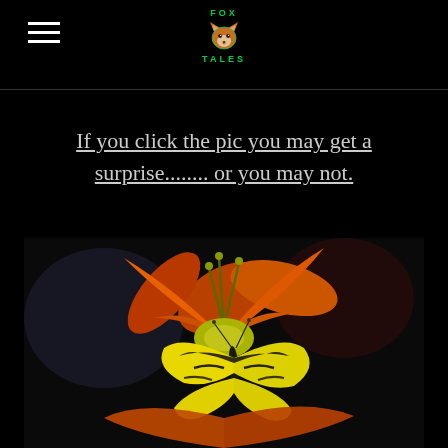FOX TALES (logo with fox icon)
If you click the pic you may get a surprise........ or you may not.
[Figure (photo): Close-up photograph of a yellow and black swallowtail butterfly perched on a vibrant orange day lily flower, with dark background]